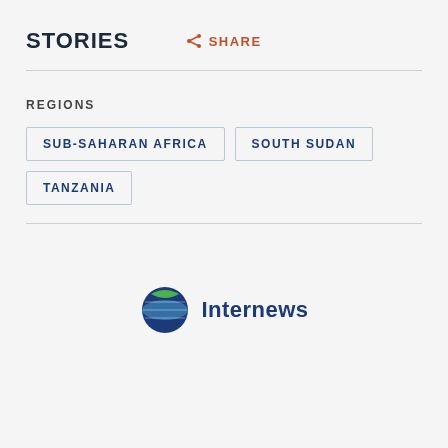STORIES
SHARE
REGIONS
SUB-SAHARAN AFRICA
SOUTH SUDAN
TANZANIA
[Figure (logo): Internews logo with globe icon and text 'Internews']